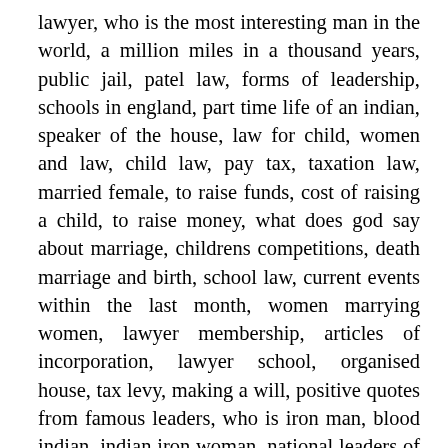lawyer, who is the most interesting man in the world, a million miles in a thousand years, public jail, patel law, forms of leadership, schools in england, part time life of an indian, speaker of the house, law for child, women and law, child law, pay tax, taxation law, married female, to raise funds, cost of raising a child, to raise money, what does god say about marriage, childrens competitions, death marriage and birth, school law, current events within the last month, women marrying women, lawyer membership, articles of incorporation, lawyer school, organised house, tax levy, making a will, positive quotes from famous leaders, who is iron man, blood indian, indian iron woman, national leaders of india female, top ten leaders in india, scripture about family, national leader female, indian archives, marriage council, marriage ministry, first in india female, indian leader names, indian female, first woman prime minister in